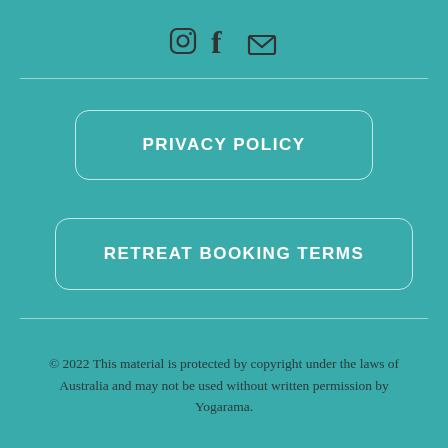[Figure (other): Social media icons: Instagram camera icon, Facebook f icon, and envelope/email icon in dark gray on teal background]
PRIVACY POLICY
RETREAT BOOKING TERMS
© 2022 This material is protected by copyright under the laws of Australia and may not be used without written permission by Yogarama.